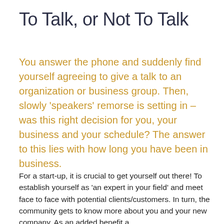To Talk, or Not To Talk
You answer the phone and suddenly find yourself agreeing to give a talk to an organization or business group. Then, slowly 'speakers' remorse is setting in – was this right decision for you, your business and your schedule? The answer to this lies with how long you have been in business.
For a start-up, it is crucial to get yourself out there! To establish yourself as 'an expert in your field' and meet face to face with potential clients/customers. In turn, the community gets to know more about you and your new company. As an added benefit a